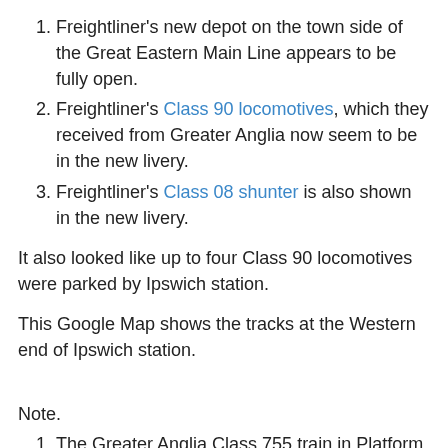Freightliner's new depot on the town side of the Great Eastern Main Line appears to be fully open.
Freightliner's Class 90 locomotives, which they received from Greater Anglia now seem to be in the new livery.
Freightliner's Class 08 shunter is also shown in the new livery.
It also looked like up to four Class 90 locomotives were parked by Ipswich station.
This Google Map shows the tracks at the Western end of Ipswich station.
Note.
The Greater Anglia Class 755 train in Platform 1 of